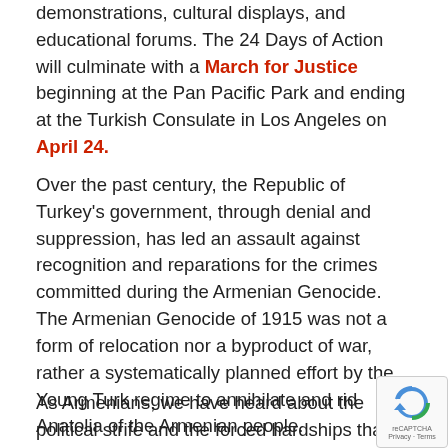demonstrations, cultural displays, and educational forums. The 24 Days of Action will culminate with a March for Justice beginning at the Pan Pacific Park and ending at the Turkish Consulate in Los Angeles on April 24.
Over the past century, the Republic of Turkey's government, through denial and suppression, has led an assault against recognition and reparations for the crimes committed during the Armenian Genocide. The Armenian Genocide of 1915 was not a form of relocation nor a byproduct of war, rather a systematically planned effort by the Young Turk regime to annihilate and rid Anatolia of the Armenian people.
As Armenians, we have heard about the political strife and the forced hardships that were brought